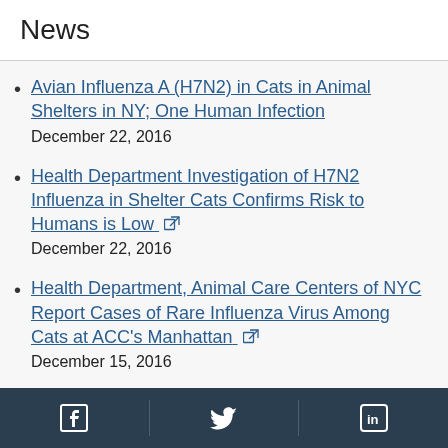News
Avian Influenza A (H7N2) in Cats in Animal Shelters in NY; One Human Infection
December 22, 2016
Health Department Investigation of H7N2 Influenza in Shelter Cats Confirms Risk to Humans is Low [external link]
December 22, 2016
Health Department, Animal Care Centers of NYC Report Cases of Rare Influenza Virus Among Cats at ACC's Manhattan [external link]
December 15, 2016
The New York City Department of Health and
Facebook | Twitter | LinkedIn